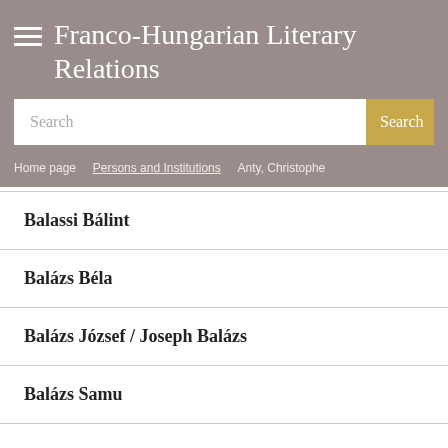≡ Franco-Hungarian Literary Relations
Search
Home page > Persons and Institutions > Anty, Christophe
Balassi Bálint
Balázs Béla
Balázs József / Joseph Balázs
Balázs Samu